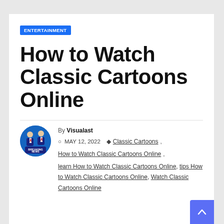ENTERTAINMENT
How to Watch Classic Cartoons Online
By Visualast · MAY 12, 2022 · Classic Cartoons, How to Watch Classic Cartoons Online, learn How to Watch Classic Cartoons Online, tips How to Watch Classic Cartoons Online, Watch Classic Cartoons Online